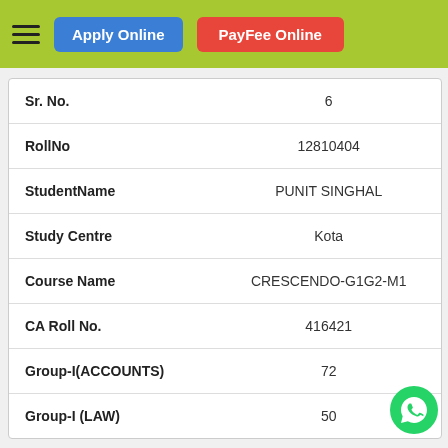Apply Online | PayFee Online
| Field | Value |
| --- | --- |
| Sr. No. | 6 |
| RollNo | 12810404 |
| StudentName | PUNIT SINGHAL |
| Study Centre | Kota |
| Course Name | CRESCENDO-G1G2-M1 |
| CA Roll No. | 416421 |
| Group-I(ACCOUNTS) | 72 |
| Group-I (LAW) | 50 |